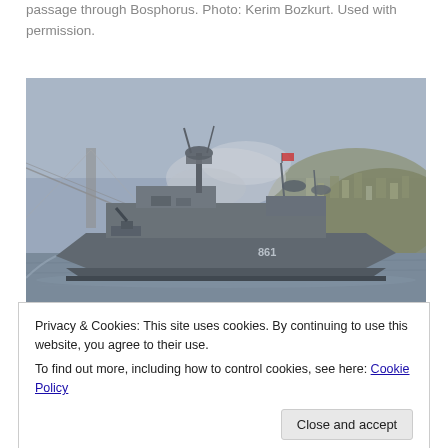Russian Krivak class frigate Ladny making her south bound passage through Bosphorus. Photo: Kerim Bozkurt. Used with permission.
[Figure (photo): A Russian Krivak class frigate warship (numbered 861) sailing through the Bosphorus strait, with a bridge and hilly coastline with buildings visible in the background. The ship is grey-painted and emitting smoke. Overcast sky.]
Privacy & Cookies: This site uses cookies. By continuing to use this website, you agree to their use.
To find out more, including how to control cookies, see here: Cookie Policy